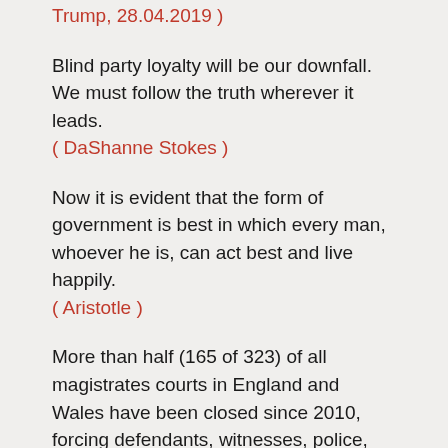Trump, 28.04.2019 )
Blind party loyalty will be our downfall. We must follow the truth wherever it leads.
( DaShanne Stokes )
Now it is evident that the form of government is best in which every man, whoever he is, can act best and live happily.
( Aristotle )
More than half (165 of 323) of all magistrates courts in England and Wales have been closed since 2010, forcing defendants, witnesses, police, lawyers and judges to travel sometimes more than 50 miles to access local justice. Seven more are set to close by September this